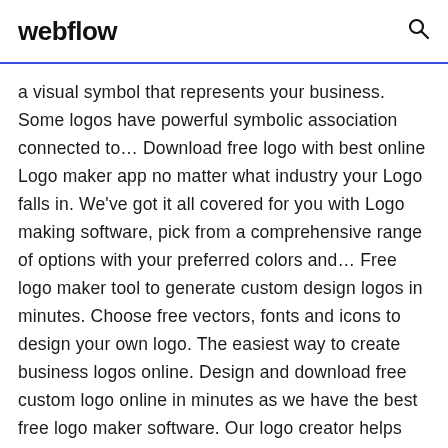webflow
a visual symbol that represents your business. Some logos have powerful symbolic association connected to… Download free logo with best online Logo maker app no matter what industry your Logo falls in. We've got it all covered for you with Logo making software, pick from a comprehensive range of options with your preferred colors and… Free logo maker tool to generate custom design logos in minutes. Choose free vectors, fonts and icons to design your own logo. The easiest way to create business logos online. Design and download free custom logo online in minutes as we have the best free logo maker software. Our logo creator helps you make your own logo online.